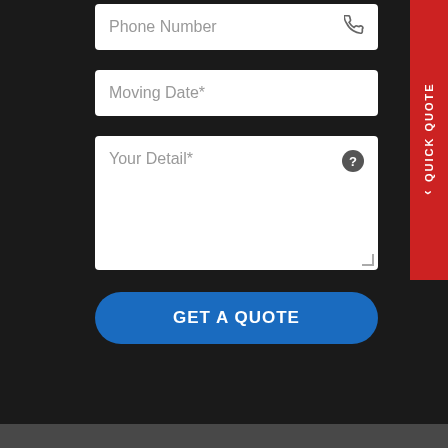[Figure (screenshot): Web form with phone number field (partially visible at top), Moving Date* input field, Your Detail* textarea field with info icon, and a blue GET A QUOTE button. A red QUICK QUOTE tab appears on the right side.]
REMOVALISTS MELBOURNE
1300 MOVE ON